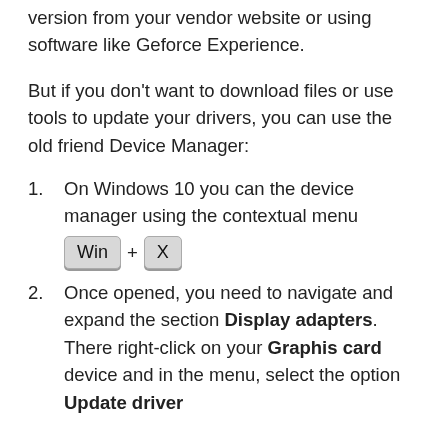version from your vendor website or using software like Geforce Experience.
But if you don't want to download files or use tools to update your drivers, you can use the old friend Device Manager:
On Windows 10 you can the device manager using the contextual menu Win + X
Once opened, you need to navigate and expand the section Display adapters. There right-click on your Graphis card device and in the menu, select the option Update driver